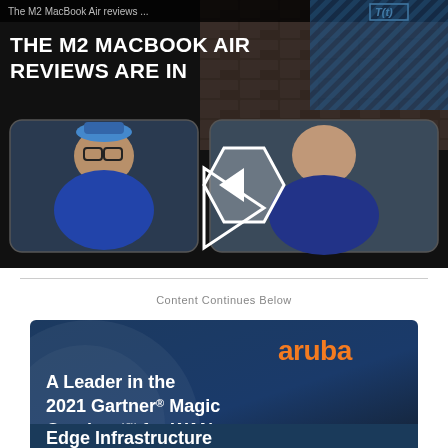[Figure (screenshot): Video thumbnail showing 'THE M2 MACBOOK AIR REVIEWS ARE IN' with two people in split-screen video call, play button overlay, T(t) badge in top right corner]
Content Continues Below
[Figure (screenshot): Aruba advertisement banner with dark blue background, Aruba logo in orange, text reading 'A Leader in the 2021 Gartner® Magic Quadrant™ for WAN Edge Infrastructure']